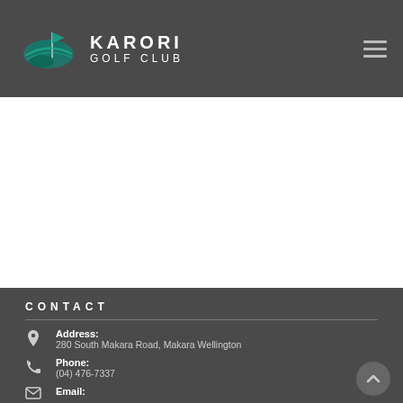KARORI GOLF CLUB
[Figure (logo): Karori Golf Club logo with teal golf graphic and white text KARORI GOLF CLUB]
CONTACT
Address: 280 South Makara Road, Makara Wellington
Phone: (04) 476-7337
Email: